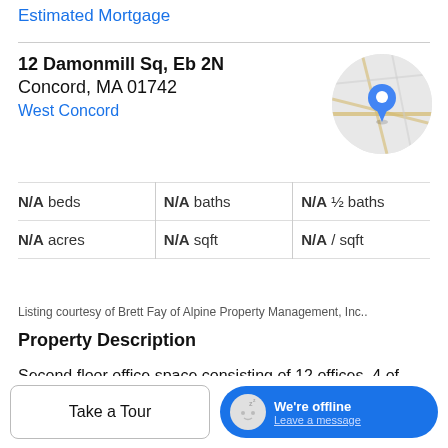Estimated Mortgage
12 Damonmill Sq, Eb 2N
Concord, MA 01742
West Concord
[Figure (map): Circular map thumbnail showing street map with a blue location pin marker]
|  |  |  |
| --- | --- | --- |
| N/A beds | N/A baths | N/A ½ baths |
| N/A acres | N/A sqft | N/A / sqft |
Listing courtesy of Brett Fay of Alpine Property Management, Inc..
Property Description
Second floor office space consisting of 12 offices, 4 of which are available. Each single room office is approximately 8'x10' each. Each office has a desk, chair and...
Take a Tour
We're offline
Leave a message